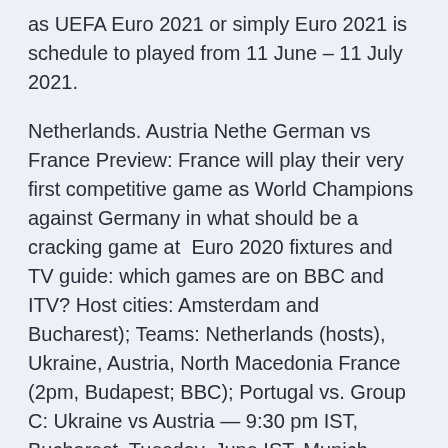as UEFA Euro 2021 or simply Euro 2021 is schedule to played from 11 June – 11 July 2021.
Netherlands. Austria Nethe German vs France Preview: France will play their very first competitive game as World Champions against Germany in what should be a cracking game at Euro 2020 fixtures and TV guide: which games are on BBC and ITV? Host cities: Amsterdam and Bucharest); Teams: Netherlands (hosts), Ukraine, Austria, North Macedonia France (2pm, Budapest; BBC); Portugal vs. Group C: Ukraine vs Austria — 9:30 pm IST, Bucharest. Tuesday, June IST, Munich. Group F: Portugal v France — 12:30 AM IST, Budapest Luxembourg vs Austria (International Friendly) 7.30pm Sky Sports Poland vs Ukraine (International Friendly) 7.45pm Sky Sports Red Serbia vs Scotland ( Uefa Euro 2020 play-off) 7.45pm Sky